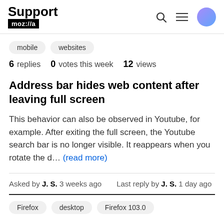Support moz://a
mobile
websites
6 replies  0 votes this week  12 views
Address bar hides web content after leaving full screen
This behavior can also be observed in Youtube, for example. After exiting the full screen, the Youtube search bar is no longer visible. It reappears when you rotate the d… (read more)
Asked by J. S. 3 weeks ago    Last reply by J. S. 1 day ago
Firefox  desktop  Firefox 103.0